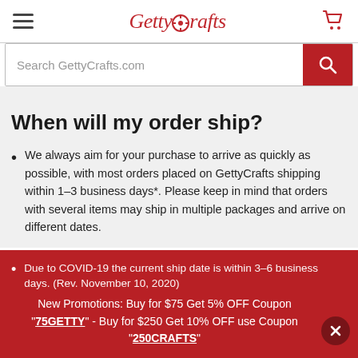GettyCrafts
Search GettyCrafts.com
When will my order ship?
We always aim for your purchase to arrive as quickly as possible, with most orders placed on GettyCrafts shipping within 1–3 business days*. Please keep in mind that orders with several items may ship in multiple packages and arrive on different dates.
Due to COVID-19 the current ship date is within 3–6 business days. (Rev. November 10, 2020)
New Promotions: Buy for $75 Get 5% OFF Coupon "75GETTY" - Buy for $250 Get 10% OFF use Coupon "250CRAFTS"